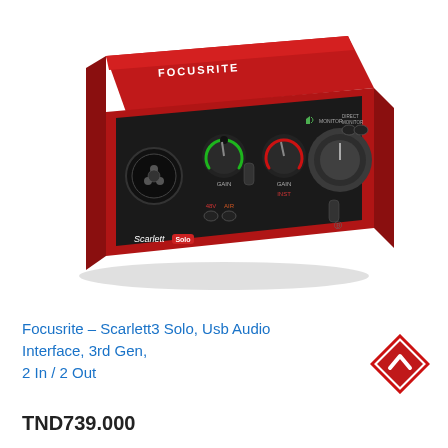[Figure (photo): Focusrite Scarlett Solo 3rd Generation USB audio interface, red aluminum body with black front panel, featuring XLR input, two gain knobs (green and red ring indicators), instrument input jack, monitor volume knob, headphone output, 48V and AIR buttons, and Scarlett Solo branding on the front.]
Focusrite – Scarlett3 Solo, Usb Audio Interface, 3rd Gen, 2 In / 2 Out
TND739.000